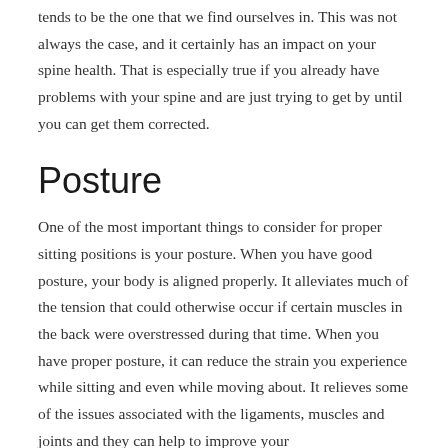tends to be the one that we find ourselves in. This was not always the case, and it certainly has an impact on your spine health. That is especially true if you already have problems with your spine and are just trying to get by until you can get them corrected.
Posture
One of the most important things to consider for proper sitting positions is your posture. When you have good posture, your body is aligned properly. It alleviates much of the tension that could otherwise occur if certain muscles in the back were overstressed during that time. When you have proper posture, it can reduce the strain you experience while sitting and even while moving about. It relieves some of the issues associated with the ligaments, muscles and joints and they can help to improve your